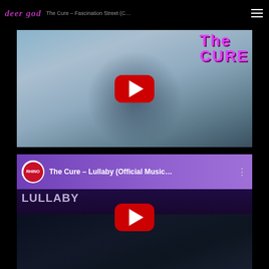deer god | The Cure - Fascination Street (Official Music Video) | LULLABY
[Figure (screenshot): YouTube embedded video thumbnail for The Cure - Fascination Street Official Music Video. Blue-grey hazy image of a person, with 'The Cure' text overlay in pink/magenta, and red YouTube play button in center.]
[Figure (screenshot): YouTube embedded video thumbnail for The Cure - Lullaby Official Music Video. Purple Rhino Records banner at top with 'The Cure - Lullaby (Official Music...' title, 'LULLABY' text, 'The Cure' text in magenta on right, image of a cat below, and red YouTube play button in center.]